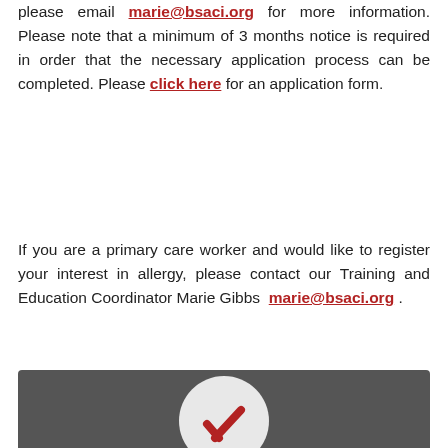please email marie@bsaci.org for more information. Please note that a minimum of 3 months notice is required in order that the necessary application process can be completed. Please click here for an application form.
If you are a primary care worker and would like to register your interest in allergy, please contact our Training and Education Coordinator Marie Gibbs  marie@bsaci.org .
[Figure (logo): Dark grey banner with BSACI logo circle containing a red checkmark/tick mark graphic]